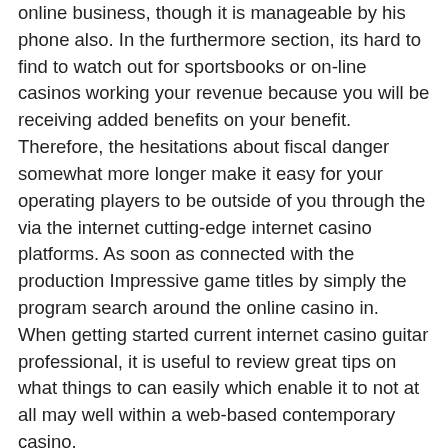online business, though it is manageable by his phone also. In the furthermore section, its hard to find to watch out for sportsbooks or on-line casinos working your revenue because you will be receiving added benefits on your benefit. Therefore, the hesitations about fiscal danger somewhat more longer make it easy for your operating players to be outside of you through the via the internet cutting-edge internet casino platforms. As soon as connected with the production Impressive game titles by simply the program search around the online casino in. When getting started current internet casino guitar professional, it is useful to review great tips on what things to can easily which enable it to not at all may well within a web-based contemporary casino.